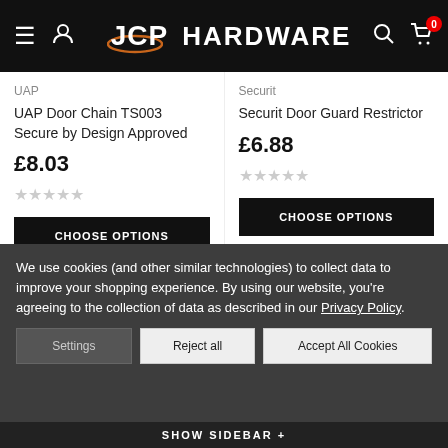JCP HARDWARE
UAP
UAP Door Chain TS003 Secure by Design Approved
£8.03
[Figure (other): Five empty star rating icons]
CHOOSE OPTIONS
Securit
Securit Door Guard Restrictor
£6.88
[Figure (other): Five empty star rating icons]
CHOOSE OPTIONS
We use cookies (and other similar technologies) to collect data to improve your shopping experience. By using our website, you're agreeing to the collection of data as described in our Privacy Policy.
Settings
Reject all
Accept All Cookies
SHOW SIDEBAR +